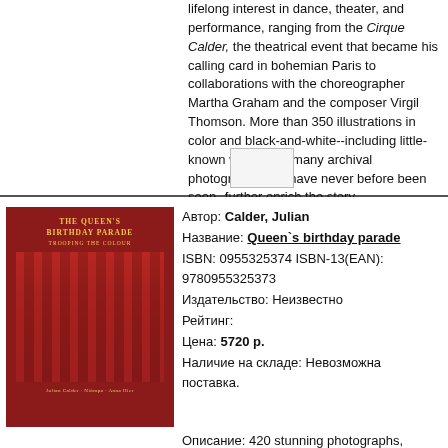lifelong interest in dance, theater, and performance, ranging from the Cirque Calder, the theatrical event that became his calling card in bohemian Paris to collaborations with the choreographer Martha Graham and the composer Virgil Thomson. More than 350 illustrations in color and black-and-white--including little-known works and many archival photographs that have never before been seen--further enrich the story.
[Figure (photo): Small placeholder image thumbnail]
[Figure (photo): Book cover: The Queen's Birthday Parade - Trooping the Colour, red cover with gold title and photo of soldiers marching in red uniforms]
Автор: Calder, Julian
Название: Queen`s birthday parade
ISBN: 0955325374 ISBN-13(EAN): 9780955325373
Издательство: Неизвестно
Рейтинг:
Цена: 5720 р.
Наличие на складе: Невозможна поставка.
Описание: 420 stunning photographs, including a unique portrait of HM the Queen, and expert text celebrate the history, pride, precision and performance involved in this greatest of British events. Foreword by HRH the Duke of Edinburgh